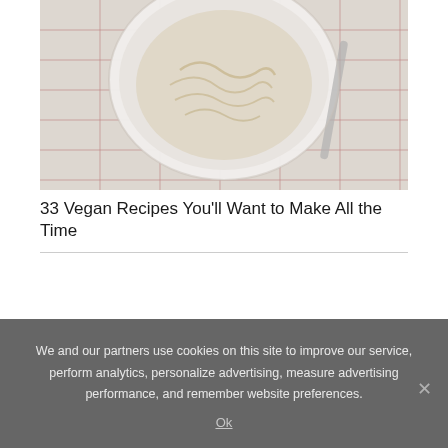[Figure (photo): Top-down photo of a bowl of food (appears to be pasta or noodles) on a checkered red and white cloth/napkin, partially cropped at the top of the page]
33 Vegan Recipes You'll Want to Make All the Time
We and our partners use cookies on this site to improve our service, perform analytics, personalize advertising, measure advertising performance, and remember website preferences.
Ok